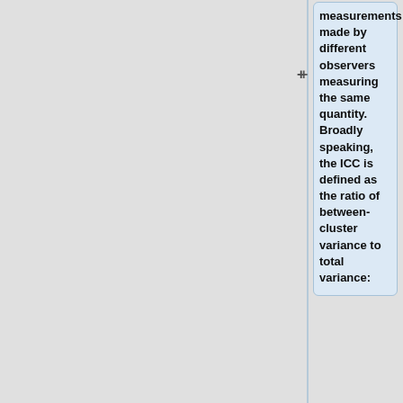measurements made by different observers measuring the same quantity. Broadly speaking, the ICC is defined as the ratio of between-cluster variance to total variance: